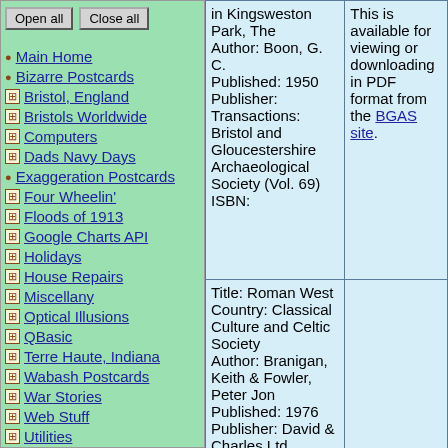Open all | Close all (buttons)
Main Home
Bizarre Postcards
Bristol, England
Bristols Worldwide
Computers
Dads Navy Days
Exaggeration Postcards
Four Wheelin'
Floods of 1913
Google Charts API
Holidays
House Repairs
Miscellany
Optical Illusions
QBasic
Terre Haute, Indiana
Wabash Postcards
War Stories
Web Stuff
Utilities
About Me
| Book Info | Availability |
| --- | --- |
| in Kingsweston Park, The
Author: Boon, G. C.
Published: 1950
Publisher: Transactions: Bristol and Gloucestershire Archaeological Society (Vol. 69)
ISBN: | This is available for viewing or downloading in PDF format from the BGAS site. |
| Title: Roman West Country: Classical Culture and Celtic Society
Author: Branigan, Keith & Fowler, Peter Jon
Published: 1976
Publisher: David & Charles Ltd
ISBN: 0715370030 |  |
| Title: Romano- |  |